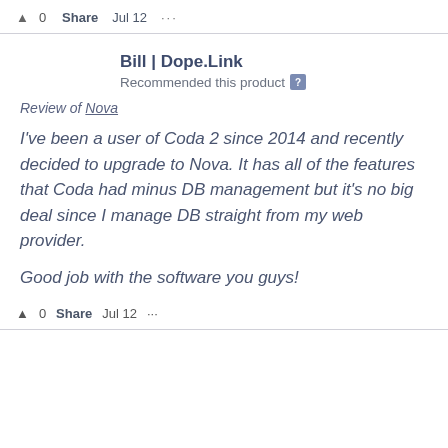▲ 0   Share   Jul 12   ···
Bill | Dope.Link
Recommended this product ?
Review of Nova
I've been a user of Coda 2 since 2014 and recently decided to upgrade to Nova. It has all of the features that Coda had minus DB management but it's no big deal since I manage DB straight from my web provider.
Good job with the software you guys!
▲ 0   Share   Jul 12   ···